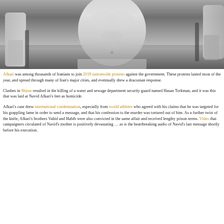[Figure (photo): Black and white photo of a muscular male torso, arms extended holding bars, wearing light shorts, photographed from chest to hips with hands gripping metal bars on either side.]
Afkari was among thousands of Iranians to join 2018 nationwide protests against the government. These protests lasted most of the year, and spread through many of Iran's major cities, and eventually drew a draconian response.
Clashes in Shiraz resulted in the killing of a water and sewage department security guard named Hasan Torkman, and it was this that was laid at Navid Afkari's feet as homicide.
Afkari's case drew international condemnation, especially from world athletes who agreed with his claims that he was targeted for his grappling fame in order to send a message, and that his confession to the murder was tortured out of him. As a further twist of the knife, Afkari's brothers Vahid and Habib were also convicted in the same affair and received lengthy prison terms. Video that campaigners circulated of Navid's mother is positively devastating … as is the heartbreaking audio of Navid's last message shortly before his execution.